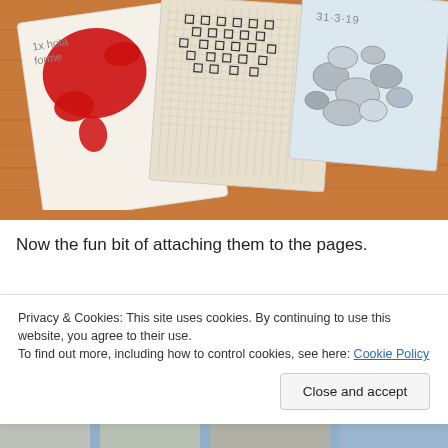[Figure (photo): Three fabric/craft pieces laid on a wooden table: left piece has red paint splash and handwriting, middle piece is aida cloth with cross-stitch pattern, right piece shows fabric with date '31-3-19' and pebble design.]
Now the fun bit of attaching them to the pages.
Privacy & Cookies: This site uses cookies. By continuing to use this website, you agree to their use.
To find out more, including how to control cookies, see here: Cookie Policy
[Figure (photo): Partial view of another craft/art piece at the bottom of the page, partially obscured by cookie banner.]